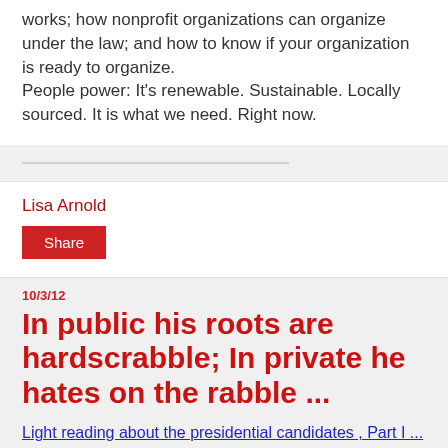works; how nonprofit organizations can organize under the law; and how to know if your organization is ready to organize.

People power: It's renewable. Sustainable. Locally sourced. It is what we need. Right now.
Lisa Arnold
Share
10/3/12
In public his roots are hardscrabble; In private he hates on the rabble ...
Light reading about the presidential candidates , Part I ...